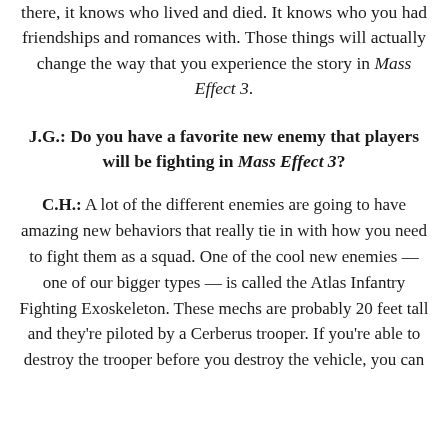there, it knows who lived and died. It knows who you had friendships and romances with. Those things will actually change the way that you experience the story in Mass Effect 3.
J.G.: Do you have a favorite new enemy that players will be fighting in Mass Effect 3?
C.H.: A lot of the different enemies are going to have amazing new behaviors that really tie in with how you need to fight them as a squad. One of the cool new enemies — one of our bigger types — is called the Atlas Infantry Fighting Exoskeleton. These mechs are probably 20 feet tall and they're piloted by a Cerberus trooper. If you're able to destroy the trooper before you destroy the vehicle, you can